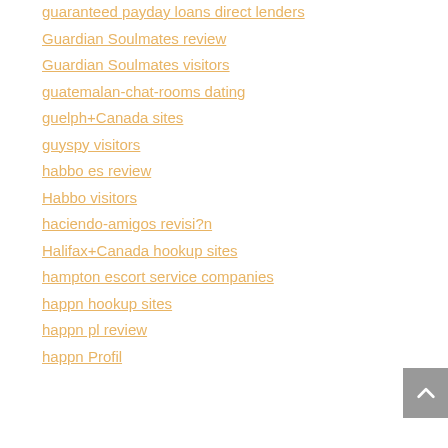guaranteed payday loans direct lenders
Guardian Soulmates review
Guardian Soulmates visitors
guatemalan-chat-rooms dating
guelph+Canada sites
guyspy visitors
habbo es review
Habbo visitors
haciendo-amigos revisi?n
Halifax+Canada hookup sites
hampton escort service companies
happn hookup sites
happn pl review
happn Profil